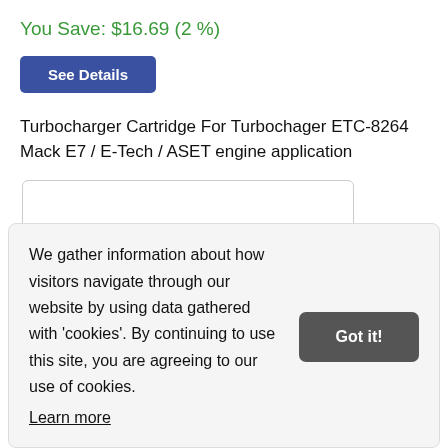You Save: $16.69 (2 %)
See Details
Turbocharger Cartridge For Turbochager ETC-8264 Mack E7 / E-Tech / ASET engine application
[Figure (other): Empty product image box with rounded border]
We gather information about how visitors navigate through our website by using data gathered with 'cookies'. By continuing to use this site, you are agreeing to our use of cookies. Learn more
Got it!